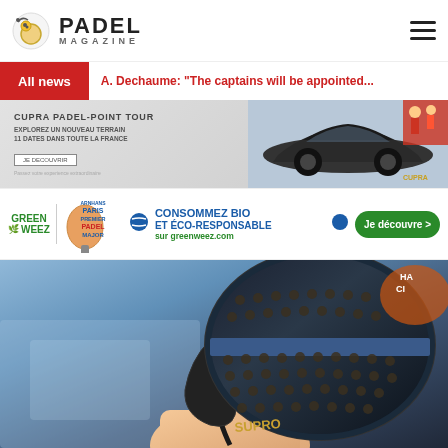PADEL MAGAZINE
All news
A. Dechaume: "The captains will be appointed..."
[Figure (photo): Advertisement banner for CUPRA PADEL-POINT TOUR showing a dark car and players. Text: EXPLOREZ UN NOUVEAU TERRAIN, 11 DATES DANS TOUTE LA FRANCE, JE DECOUVRIR]
[Figure (photo): Advertisement for Greenweez: CONSOMMEZ BIO ET EÉO-RESPONSABLE sur greenweez.com, with Paris Premier Padel Major logo and Je découvre button]
[Figure (photo): Close-up photo of a person holding a padel racket (appears to be a SUPRO/dark racket with copper-colored bumpers)]